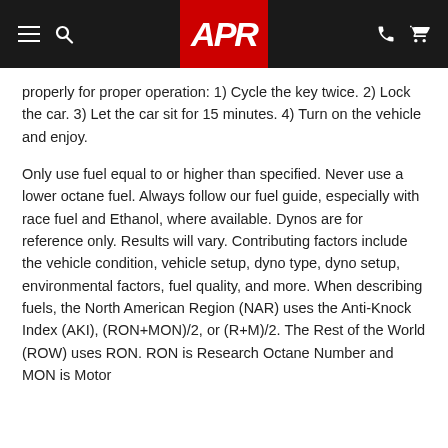APR
properly for proper operation: 1) Cycle the key twice. 2) Lock the car. 3) Let the car sit for 15 minutes. 4) Turn on the vehicle and enjoy.
Only use fuel equal to or higher than specified. Never use a lower octane fuel. Always follow our fuel guide, especially with race fuel and Ethanol, where available. Dynos are for reference only. Results will vary. Contributing factors include the vehicle condition, vehicle setup, dyno type, dyno setup, environmental factors, fuel quality, and more. When describing fuels, the North American Region (NAR) uses the Anti-Knock Index (AKI), (RON+MON)/2, or (R+M)/2. The Rest of the World (ROW) uses RON. RON is Research Octane Number and MON is Motor